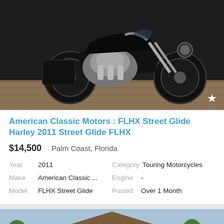[Figure (photo): Black Harley-Davidson Street Glide motorcycle parked on a brick driveway, shot from the left side showing chrome engine and front fork details]
American Classic Motors : FLHX Street Glide Harley 2011 Street Glide FLHX
$14,500    Palm Coast, Florida
Year 2011  Category Touring Motorcycles  Make American Classic ...  Engine -  Model FLHX Street Glide  Posted Over 1 Month
[Figure (photo): White Harley-Davidson motorcycle with chrome accessories parked in front of a suburban home with tan stucco exterior and two-car garage, with a CLOSE button overlay]